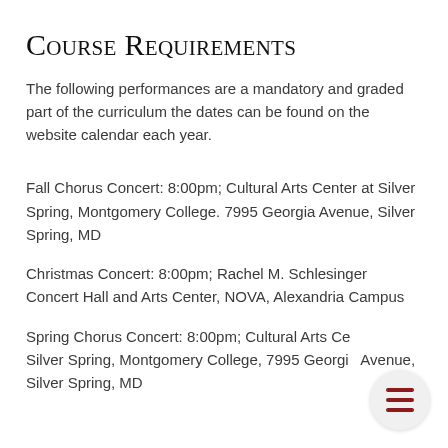Course Requirements
The following performances are a mandatory and graded part of the curriculum the dates can be found on the website calendar each year.
Fall Chorus Concert: 8:00pm; Cultural Arts Center at Silver Spring, Montgomery College. 7995 Georgia Avenue, Silver Spring, MD
Christmas Concert: 8:00pm; Rachel M. Schlesinger Concert Hall and Arts Center, NOVA, Alexandria Campus
Spring Chorus Concert: 8:00pm; Cultural Arts Center at Silver Spring, Montgomery College, 7995 Georgia Avenue, Silver Spring, MD